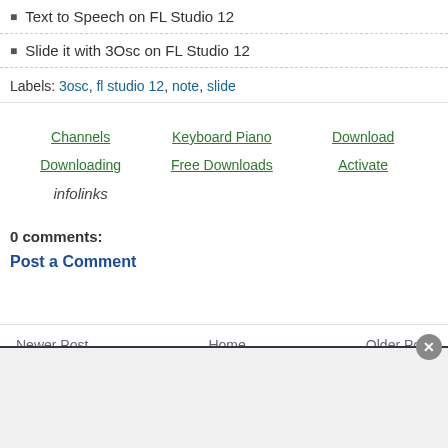Text to Speech on FL Studio 12
Slide it with 3Osc on FL Studio 12
Labels: 3osc, fl studio 12, note, slide
Channels  Keyboard Piano  Download  Downloading  Free Downloads  Activate  infolinks
0 comments:
Post a Comment
Newer Post    Home    Older Post